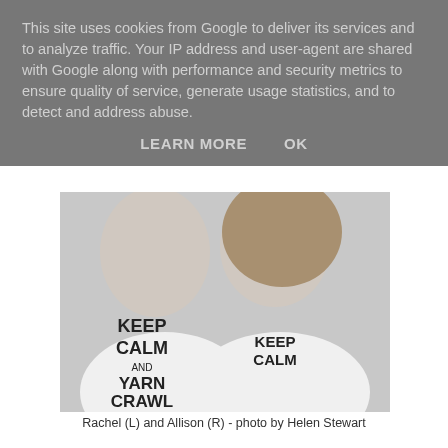This site uses cookies from Google to deliver its services and to analyze traffic. Your IP address and user-agent are shared with Google along with performance and security metrics to ensure quality of service, generate usage statistics, and to detect and address abuse.
LEARN MORE    OK
[Figure (photo): Black and white photo of two smiling women wearing 'Keep Calm and Yarn Crawl' t-shirts]
Rachel (L) and Allison (R) - photo by Helen Stewart